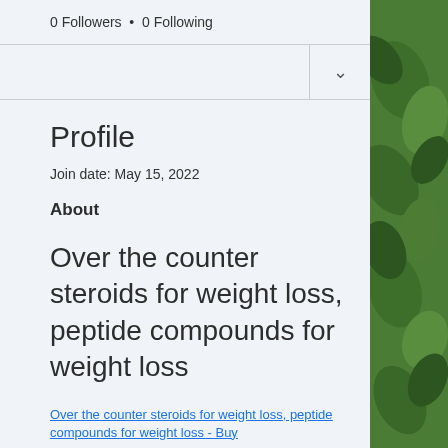0 Followers • 0 Following
Profile
Join date: May 15, 2022
About
Over the counter steroids for weight loss, peptide compounds for weight loss
Over the counter steroids for weight loss, peptide compounds for weight loss - Buy